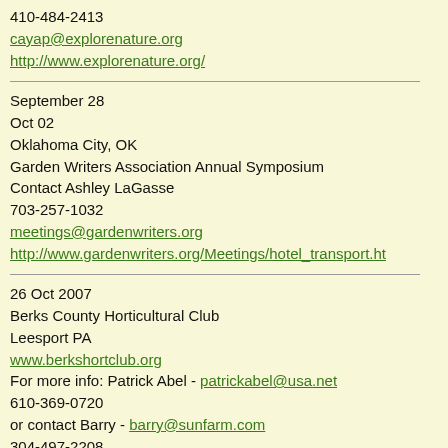410-484-2413
cayap@explorenature.org
http://www.explorenature.org/
September 28
Oct 02
Oklahoma City, OK
Garden Writers Association Annual Symposium
Contact Ashley LaGasse
703-257-1032
meetings@gardenwriters.org
http://www.gardenwriters.org/Meetings/hotel_transport.ht
26 Oct 2007
Berks County Horticultural Club
Leesport PA
www.berkshortclub.org
For more info: Patrick Abel - patrickabel@usa.net
610-369-0720
or contact Barry - barry@sunfarm.com
304-497-2208
11 Nov 2007
Botanica